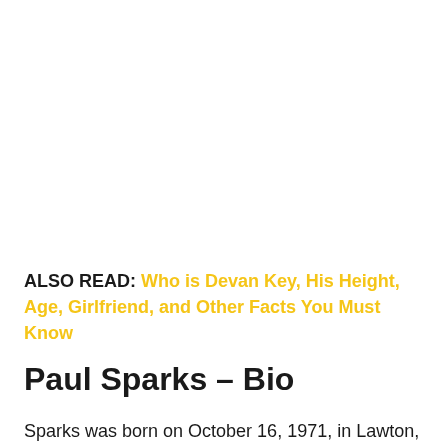ALSO READ: Who is Devan Key, His Height, Age, Girlfriend, and Other Facts You Must Know
Paul Sparks – Bio
Sparks was born on October 16, 1971, in Lawton,